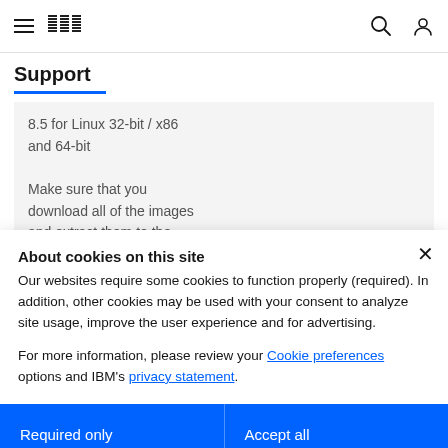IBM Support
Support
8.5 for Linux 32-bit / x86 and 64-bit

Make sure that you download all of the images and extract them to the
About cookies on this site
Our websites require some cookies to function properly (required). In addition, other cookies may be used with your consent to analyze site usage, improve the user experience and for advertising.

For more information, please review your Cookie preferences options and IBM's privacy statement.
Required only
Accept all